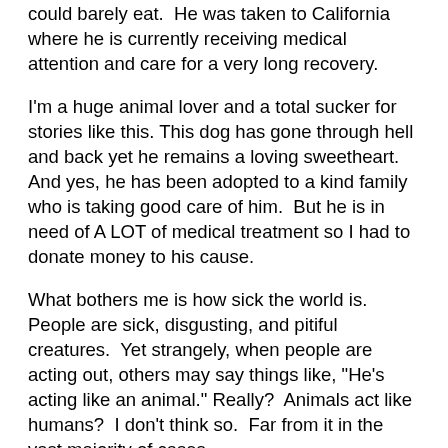could barely eat.  He was taken to California where he is currently receiving medical attention and care for a very long recovery.
I'm a huge animal lover and a total sucker for stories like this. This dog has gone through hell and back yet he remains a loving sweetheart.  And yes, he has been adopted to a kind family who is taking good care of him.  But he is in need of A LOT of medical treatment so I had to donate money to his cause.
What bothers me is how sick the world is.  People are sick, disgusting, and pitiful creatures.  Yet strangely, when people are acting out, others may say things like, "He's acting like an animal." Really?  Animals act like humans?  I don't think so.  Far from it in the vast majority of cases.
Then I have to stop myself to remember that the "glass is half full," after all, and there ARE loving people out there including the people who RESCUED this dog from the streets, brought the dog to California for the best kind of